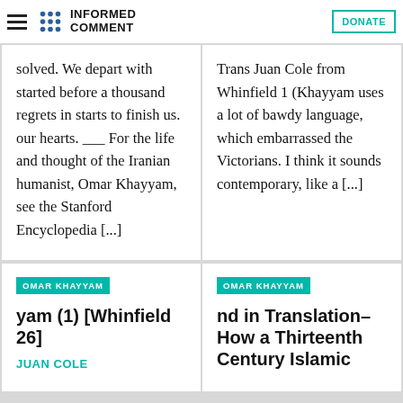Informed Comment — DONATE
solved. We depart with started before a thousand regrets in starts to finish us. our hearts. ___ For the life and thought of the Iranian humanist, Omar Khayyam, see the Stanford Encyclopedia [...]
Trans Juan Cole from Whinfield 1 (Khayyam uses a lot of bawdy language, which embarrassed the Victorians. I think it sounds contemporary, like a [...]
OMAR KHAYYAM yam (1) [Whinfield 26]
JUAN COLE
OMAR KHAYYAM nd in Translation– How a Thirteenth Century Islamic